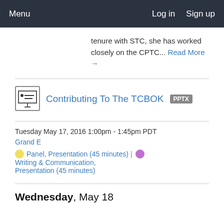Menu | Log in  Sign up
tenure with STC, she has worked closely on the CPTC... Read More →
[Figure (illustration): Presentation slide icon (projector screen with bullet points)]
Contributing To The TCBOK  PPTX
Tuesday May 17, 2016 1:00pm - 1:45pm PDT
Grand E
Panel, Presentation (45 minutes) | Writing & Communication, Presentation (45 minutes)
Wednesday, May 18